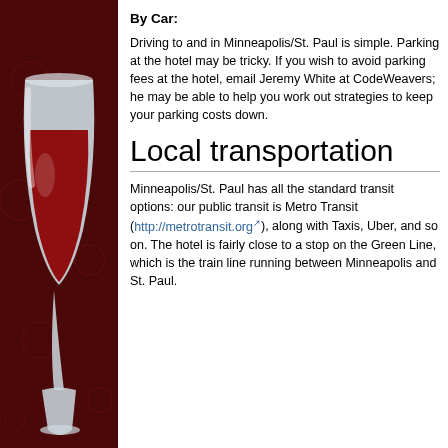[Figure (illustration): Wine glass with red wine on dark red background with subtle circular patterns]
By Car:
Driving to and in Minneapolis/St. Paul is simple. Parking at the hotel may be tricky. If you wish to avoid parking fees at the hotel, email Jeremy White at CodeWeavers; he may be able to help you work out strategies to keep your parking costs down.
Local transportation
Minneapolis/St. Paul has all the standard transit options: our public transit is Metro Transit (http://metrotransit.org), along with Taxis, Uber, and so on. The hotel is fairly close to a stop on the Green Line, which is the train line running between Minneapolis and St. Paul.